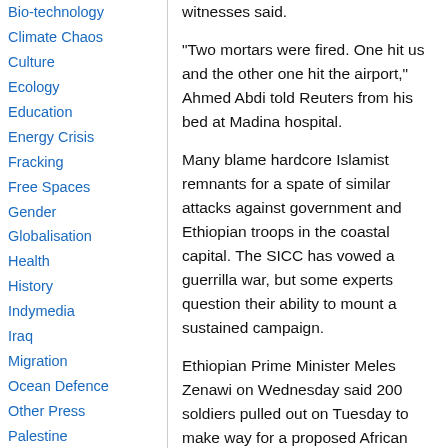Bio-technology
Climate Chaos
Culture
Ecology
Education
Energy Crisis
Fracking
Free Spaces
Gender
Globalisation
Health
History
Indymedia
Iraq
Migration
Ocean Defence
Other Press
Palestine
Policing
Public sector cuts
Repression
Social Struggles
Technology
Terror War
witnesses said.
"Two mortars were fired. One hit us and the other one hit the airport," Ahmed Abdi told Reuters from his bed at Madina hospital.
Many blame hardcore Islamist remnants for a spate of similar attacks against government and Ethiopian troops in the coastal capital. The SICC has vowed a guerrilla war, but some experts question their ability to mount a sustained campaign.
Ethiopian Prime Minister Meles Zenawi on Wednesday said 200 soldiers pulled out on Tuesday to make way for a proposed African Union force of nearly 8,000 troops, which is still being put together.
Nigeria said on Wednesday said it would contribute a battalion of up to 1,000 troops.
Uganda and Malawi have also offered